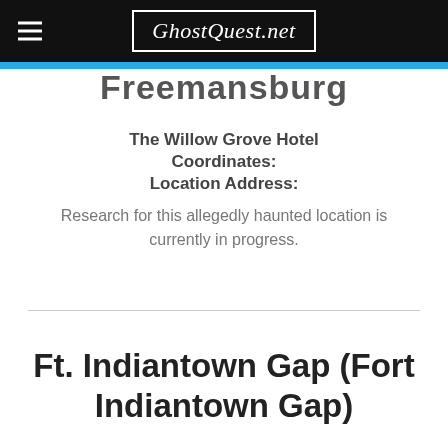GhostQuest.net
Freemansburg
The Willow Grove Hotel
Coordinates:
Location Address:
Research for this allegedly haunted location is currently in progress.
Ft. Indiantown Gap (Fort Indiantown Gap)